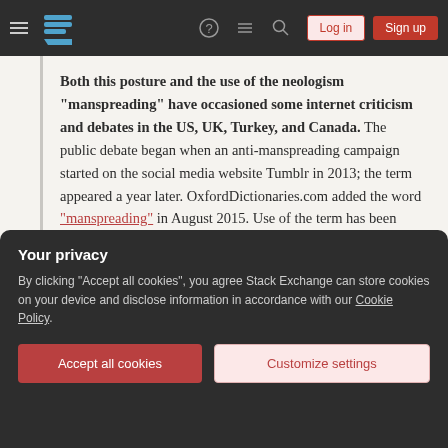Stack Exchange navigation bar with hamburger menu, logo, help, chat, search icons, Log in and Sign up buttons
Both this posture and the use of the neologism "manspreading" have occasioned some internet criticism and debates in the US, UK, Turkey, and Canada. The public debate began when an anti-manspreading campaign started on the social media website Tumblr in 2013; the term appeared a year later. OxfordDictionaries.com added the word "manspreading" in August 2015. Use of the term has been criticized as "a caricature of
Your privacy
By clicking "Accept all cookies", you agree Stack Exchange can store cookies on your device and disclose information in accordance with our Cookie Policy.
Accept all cookies   Customize settings